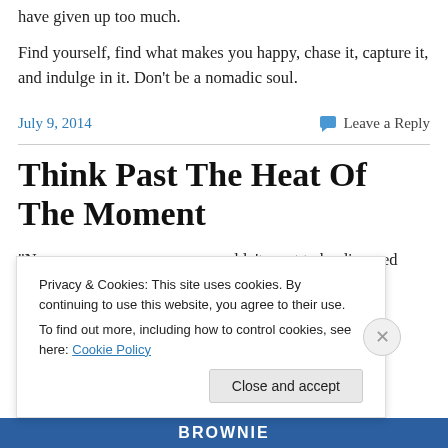have given up too much.
Find yourself, find what makes you happy, chase it, capture it, and indulge in it. Don’t be a nomadic soul.
July 9, 2014
💬 Leave a Reply
Think Past The Heat Of The Moment
“Never marry a woman you wouldn’t want to be divorced
Privacy & Cookies: This site uses cookies. By continuing to use this website, you agree to their use.
To find out more, including how to control cookies, see here: Cookie Policy
Close and accept